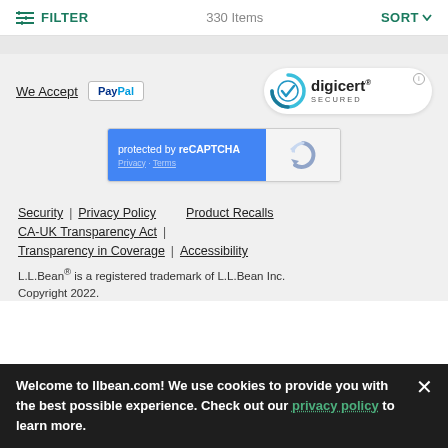FILTER   330 Items   SORT
[Figure (logo): We Accept PayPal logo and DigiCert Secured badge]
[Figure (screenshot): reCAPTCHA widget: protected by reCAPTCHA, Privacy · Terms]
Security  |  Privacy Policy     Product Recalls
CA-UK Transparency Act  |
Transparency in Coverage  |  Accessibility
L.L.Bean® is a registered trademark of L.L.Bean Inc.
Copyright 2022.
Welcome to llbean.com! We use cookies to provide you with the best possible experience. Check out our privacy policy to learn more.